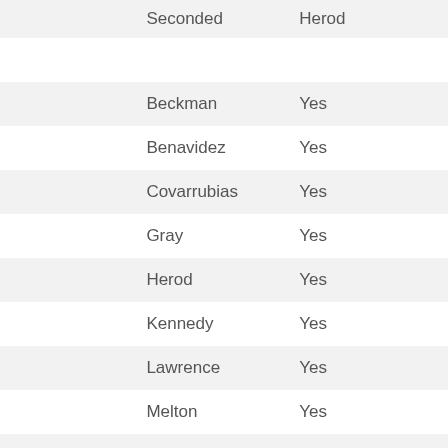|  | Seconded | Herod |
| --- | --- | --- |
|  |  |  |
|  | Beckman | Yes |
|  | Benavidez | Yes |
|  | Covarrubias | Yes |
|  | Gray | Yes |
|  | Herod | Yes |
|  | Kennedy | Yes |
|  | Lawrence | Yes |
|  | Melton | Yes |
|  | Sandridge | No |